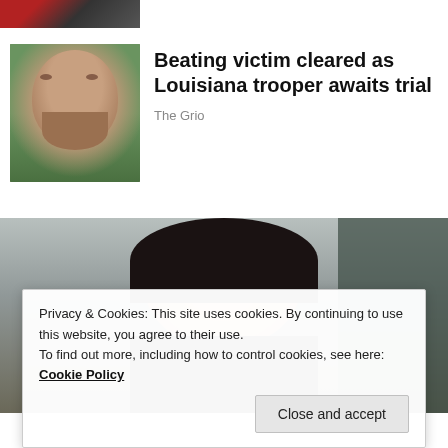[Figure (photo): Partial top strip showing a cropped image with red and dark tones]
[Figure (photo): Thumbnail photo of an older Black man with a distressed expression, wearing a light-colored shirt]
Beating victim cleared as Louisiana trooper awaits trial
The Grio
[Figure (photo): Large photo of a Black woman with braided hair and glasses, smiling, photographed outdoors]
Privacy & Cookies: This site uses cookies. By continuing to use this website, you agree to their use.
To find out more, including how to control cookies, see here: Cookie Policy
Close and accept